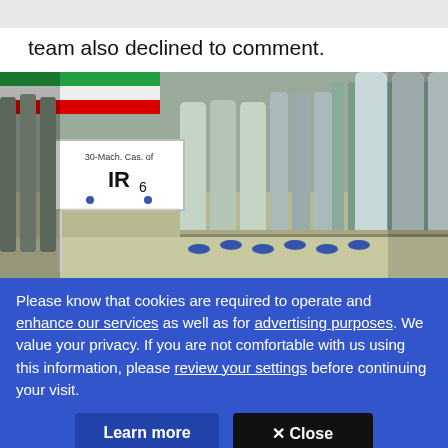team also declined to comment.
[Figure (photo): Photograph of IR6 centrifuges at an Iranian nuclear facility, showing rows of silver cylindrical centrifuge machines with a sign reading '30-Mach. Cas. of IR6' and an Iranian flag visible in the background.]
Please know that cookies are required to operate and enhance our services as well as for advertising purposes. We value your privacy. If you are not comfortable with us using this information, please review your settings before continuing your visit.